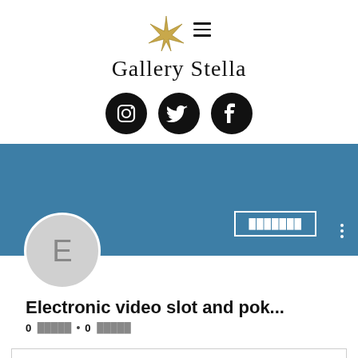[Figure (logo): Gallery Stella logo with star icon and hamburger menu icon]
Gallery Stella
[Figure (illustration): Three social media icons: Instagram, Twitter, Facebook — black circular buttons]
[Figure (screenshot): Facebook-style profile page banner in steel blue with avatar circle showing letter E, an outlined button with redacted text, and a three-dot menu]
Electronic video slot and pok...
0 ██████ • 0 ██████
[Figure (other): Dropdown/accordion box with chevron down arrow]